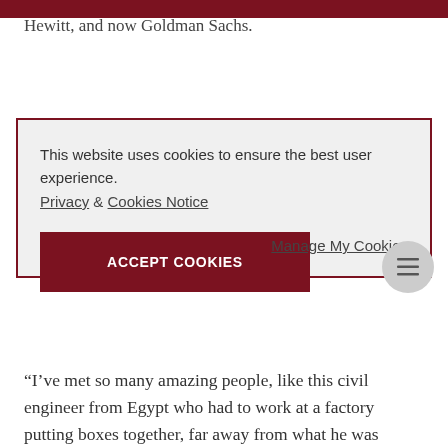Hewitt, and now Goldman Sachs.
This website uses cookies to ensure the best user experience.
Privacy & Cookies Notice
ACCEPT COOKIES
Manage My Cookies
“I’ve met so many amazing people, like this civil engineer from Egypt who had to work at a factory putting boxes together, far away from what he was qualified to do. Also, the people from their side in